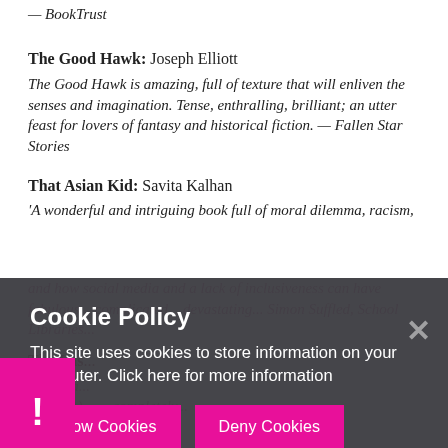doodle illustrations, which add verve and character — BookTrust
The Good Hawk: Joseph Elliott
The Good Hawk is amazing, full of texture that will enliven the senses and imagination. Tense, enthralling, brilliant; an utter feast for lovers of fantasy and historical fiction. — Fallen Star Stories
That Asian Kid: Savita Kalhan
'A wonderful and intriguing book full of moral dilemma, racism, and how social media and a lack of inclusiveness can have fabulous... complicated... devastating... Simon Suffled, School Libraries...
The Last...
This is a...
Truly (A)...
[Figure (screenshot): Cookie policy banner overlay with dark background, title 'Cookie Policy', message 'This site uses cookies to store information on your computer. Click here for more information', and two pink buttons: 'Allow Cookies' and 'Deny Cookies'. A close X button appears top right. A pink corner with exclamation mark appears bottom left.]